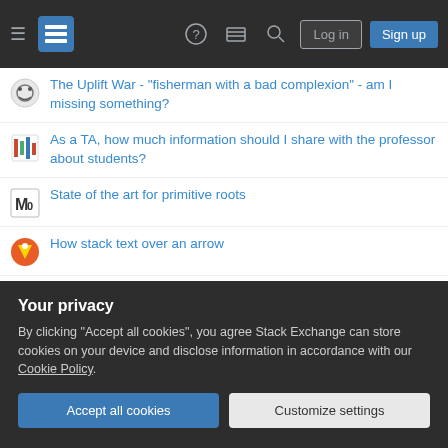Stack Exchange navigation bar with Log in and Sign up buttons
The Uplift War - "fisherman with a bad complexion" - am I missing something?
As a TA, how much information should I share with the professor about students?
State of the art for primitive roots
How stack text over an arrow
What do E and COM mean in a blower motor wiring diagram?
Is there any way to transfer a private key to another people?
Writing an s-expression with indented lines?
Poorly performing stored procedure using cached data while testing
Your privacy
By clicking "Accept all cookies", you agree Stack Exchange can store cookies on your device and disclose information in accordance with our Cookie Policy.
Accept all cookies  Customize settings